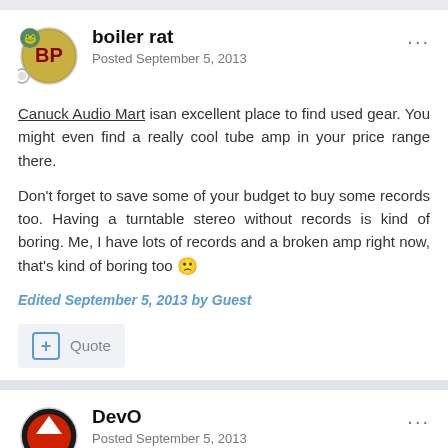boiler rat
Posted September 5, 2013
Canuck Audio Mart isan excellent place to find used gear. You might even find a really cool tube amp in your price range there.

Don't forget to save some of your budget to buy some records too. Having a turntable stereo without records is kind of boring. Me, I have lots of records and a broken amp right now, that's kind of boring too :(
Edited September 5, 2013 by Guest
+ Quote
DevO
Posted September 5, 2013